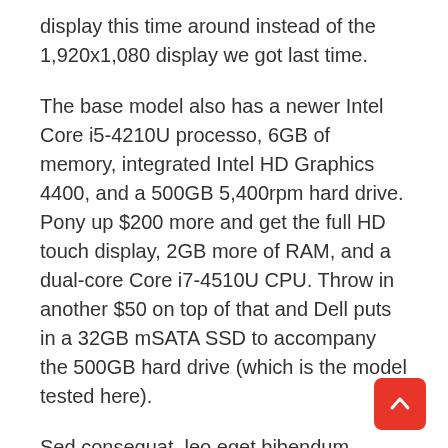display this time around instead of the 1,920x1,080 display we got last time.
The base model also has a newer Intel Core i5-4210U processo, 6GB of memory, integrated Intel HD Graphics 4400, and a 500GB 5,400rpm hard drive. Pony up $200 more and get the full HD touch display, 2GB more of RAM, and a dual-core Core i7-4510U CPU. Throw in another $50 on top of that and Dell puts in a 32GB mSATA SSD to accompany the 500GB hard drive (which is the model tested here).
Sed consequat, leo eget bibendum sodales, augue velit cursus nunc, quis gravida magna mi a libero. Fusce vulputate eleifend sapien. Vestibulum purus quam, scelerisque ut, mollis sed, nonummy id, metus. Nullam accumsan lorem in dui. Cras ultricies mi eu turpis hendrerit fringilla.